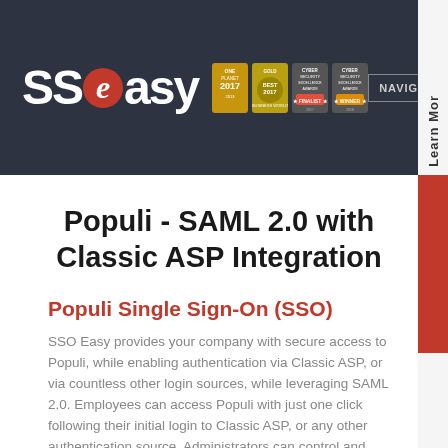SSOeasy NAVIGATI Learn More
Populi - SAML 2.0 with Classic ASP Integration
Populi Single Sign-On (SSO)
SSO Easy provides your company with secure access to Populi, while enabling authentication via Classic ASP, or via countless other login sources, while leveraging SAML 2.0. Employees can access Populi with just one click following their initial login to Classic ASP, or any other authentication source. Administrators can control and easily manage who has access to Populi. SSO Easy's Populi Single Sign-On (SSO) solution with the desired